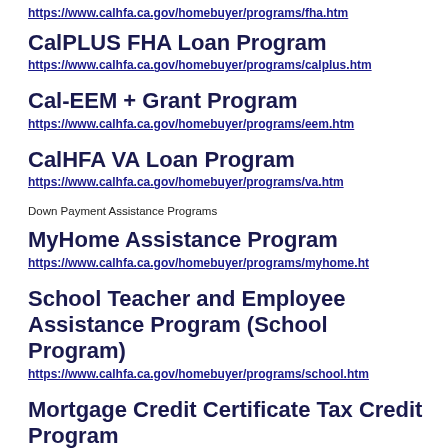https://www.calhfa.ca.gov/homebuyer/programs/fha.htm
CalPLUS FHA Loan Program
https://www.calhfa.ca.gov/homebuyer/programs/calplus.htm
Cal-EEM + Grant Program
https://www.calhfa.ca.gov/homebuyer/programs/eem.htm
CalHFA VA Loan Program
https://www.calhfa.ca.gov/homebuyer/programs/va.htm
Down Payment Assistance Programs
MyHome Assistance Program
https://www.calhfa.ca.gov/homebuyer/programs/myhome.ht
School Teacher and Employee Assistance Program (School Program)
https://www.calhfa.ca.gov/homebuyer/programs/school.htm
Mortgage Credit Certificate Tax Credit Program
Mortgage Credit Certificate Tax Credit